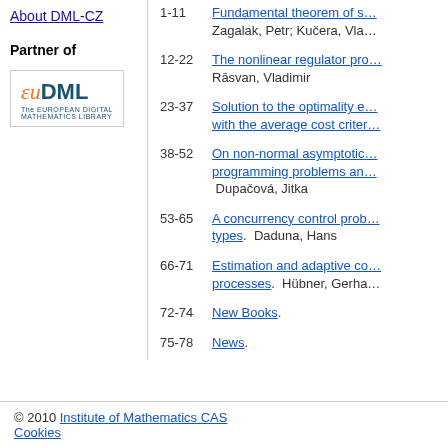About DML-CZ
Partner of
[Figure (logo): EuDML - The European Digital Mathematics Library logo]
1-11  Fundamental theorem of s... Zagalak, Petr; Kučera, Vla...
12-22  The nonlinear regulator pro... Rāsvan, Vladimir
23-37  Solution to the optimality e... with the average cost criter...
38-52  On non-normal asymptotic... programming problems an... Dupačová, Jitka
53-65  A concurrency control prob... types.  Daduna, Hans
66-71  Estimation and adaptive co... processes.  Hübner, Gerha...
72-74  New Books.
75-78  News.
© 2010 Institute of Mathematics CAS Cookies